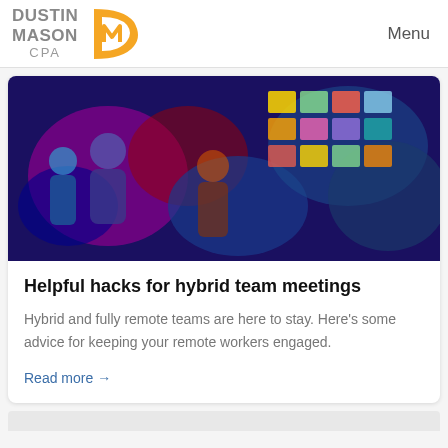[Figure (logo): Dustin Mason CPA logo with orange angular D-M monogram icon]
Menu
[Figure (photo): Blurred colorful photo of people in a dark room with colorful sticky notes or screens in the background]
Helpful hacks for hybrid team meetings
Hybrid and fully remote teams are here to stay. Here's some advice for keeping your remote workers engaged.
Read more →